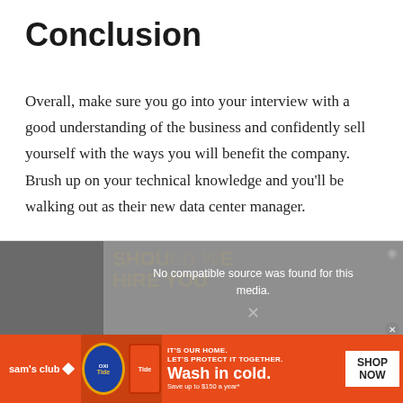Conclusion
Overall, make sure you go into your interview with a good understanding of the business and confidently sell yourself with the ways you will benefit the company. Brush up on your technical knowledge and you'll be walking out as their new data center manager.
[Figure (screenshot): Video player overlay showing 'No compatible source was found for this media.' message over a dark background with partially visible text 'SHOULD WE HIRE YOU' and a close button]
[Figure (photo): Sam's Club advertisement banner in orange/red: Tide OXI product image, text 'IT'S OUR HOME. LET'S PROTECT IT TOGETHER. Wash in cold. Save up to $150 a year*', SHOP NOW button]